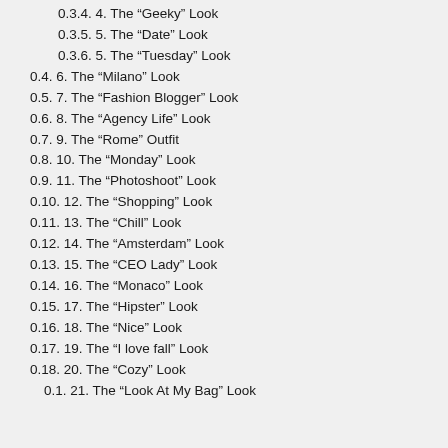0.3.4. 4. The “Geeky” Look
0.3.5. 5. The “Date” Look
0.3.6. 5. The “Tuesday” Look
0.4. 6. The “Milano” Look
0.5. 7. The “Fashion Blogger” Look
0.6. 8. The “Agency Life” Look
0.7. 9. The “Rome” Outfit
0.8. 10. The “Monday” Look
0.9. 11. The “Photoshoot” Look
0.10. 12. The “Shopping” Look
0.11. 13. The “Chill” Look
0.12. 14. The “Amsterdam” Look
0.13. 15. The “CEO Lady” Look
0.14. 16. The “Monaco” Look
0.15. 17. The “Hipster” Look
0.16. 18. The “Nice” Look
0.17. 19. The “I love fall” Look
0.18. 20. The “Cozy” Look
0.1. 21. The “Look At My Bag” Look